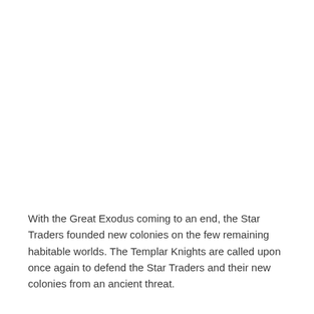With the Great Exodus coming to an end, the Star Traders founded new colonies on the few remaining habitable worlds. The Templar Knights are called upon once again to defend the Star Traders and their new colonies from an ancient threat.